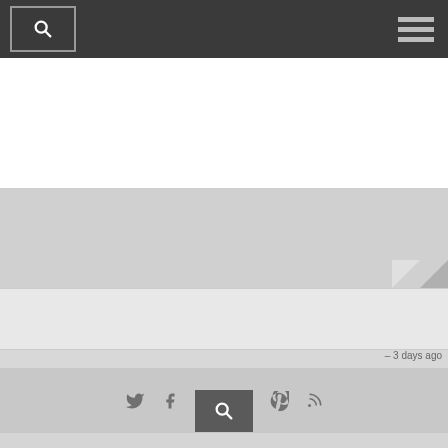[Figure (screenshot): Navigation bar with search icon (magnifying glass in a box) on the left and hamburger menu icon on the right, dark gray background]
[Figure (screenshot): White rectangular content area below the navbar]
[Figure (screenshot): Gray background content area with a folded corner paper effect on the right side]
[Figure (screenshot): Light gray content strip below the main content area]
- 3 days ago
[Figure (screenshot): Social media icons bar: Twitter, Facebook, Google+, Vimeo, Pinterest, RSS feed icons in medium gray]
[Figure (screenshot): Search button (magnifying glass icon) centered in the lower gray area]